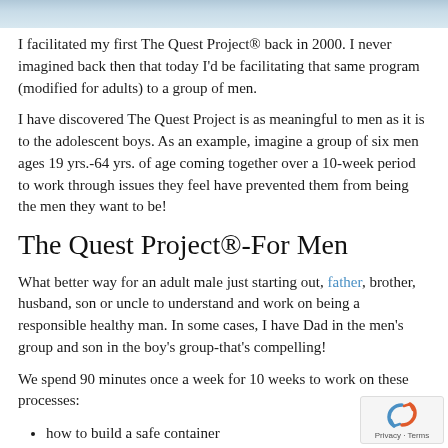[Figure (photo): Decorative header image with a blurred outdoor/nature background in blue-grey tones]
I facilitated my first The Quest Project® back in 2000.  I never imagined back then that today I'd be facilitating that same program (modified for adults) to a group of men.
I have discovered The Quest Project is as meaningful to men as it is to the adolescent boys.  As an example, imagine a group of six men ages 19 yrs.-64 yrs. of age coming together over a 10-week period to work through issues they feel have prevented them from being the men they want to be!
The Quest Project®-For Men
What better way for an adult male just starting out, father, brother, husband, son or uncle to understand and work on being a responsible healthy man.  In some cases, I have Dad in the men's group and son in the boy's group-that's compelling!
We spend 90 minutes once a week for 10 weeks to work on these processes:
how to build a safe container
goal setting and block
tools for life